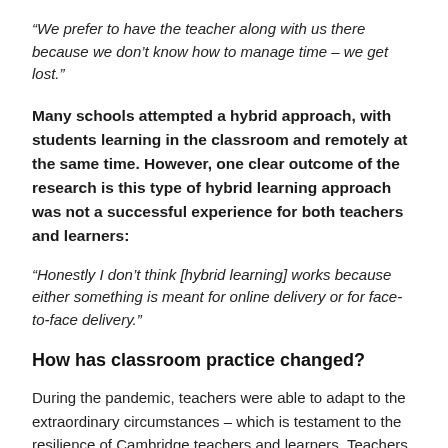“We prefer to have the teacher along with us there because we don’t know how to manage time – we get lost.”
Many schools attempted a hybrid approach, with students learning in the classroom and remotely at the same time. However, one clear outcome of the research is this type of hybrid learning approach was not a successful experience for both teachers and learners:
“Honestly I don’t think [hybrid learning] works because either something is meant for online delivery or for face-to-face delivery.”
How has classroom practice changed?
During the pandemic, teachers were able to adapt to the extraordinary circumstances – which is testament to the resilience of Cambridge teachers and learners. Teachers